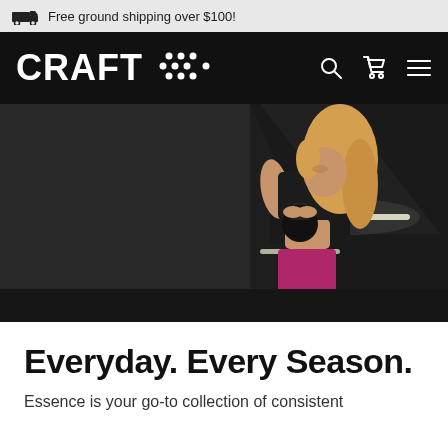Free ground shipping over $100!
[Figure (logo): CRAFT sportswear logo in white on black background with navigation icons (search, cart, hamburger menu)]
[Figure (photo): Athletic woman with blonde hair wearing black sports bra and pink/magenta leggings, swinging a black kettlebell in a dark gym environment with strip lighting]
Everyday. Every Season.
Essence is your go-to collection of consistent